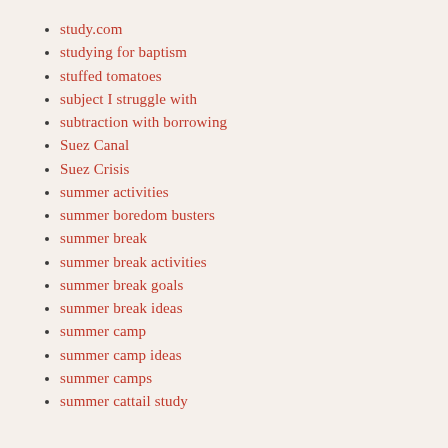study.com
studying for baptism
stuffed tomatoes
subject I struggle with
subtraction with borrowing
Suez Canal
Suez Crisis
summer activities
summer boredom busters
summer break
summer break activities
summer break goals
summer break ideas
summer camp
summer camp ideas
summer camps
summer cattail study